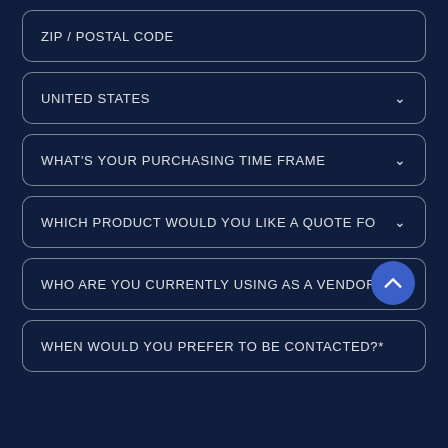ZIP / POSTAL CODE
UNITED STATES
WHAT'S YOUR PURCHASING TIME FRAME
WHICH PRODUCT WOULD YOU LIKE A QUOTE FO
WHO ARE YOU CURRENTLY USING AS A VENDOR?
WHEN WOULD YOU PREFER TO BE CONTACTED?*